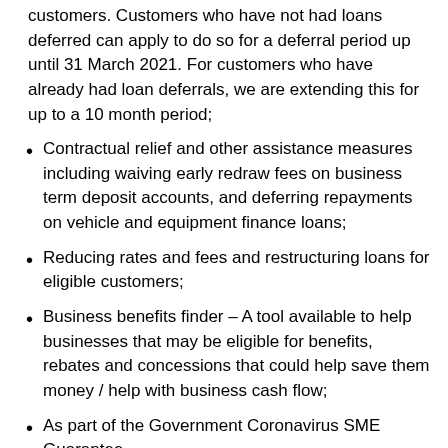customers. Customers who have not had loans deferred can apply to do so for a deferral period up until 31 March 2021. For customers who have already had loan deferrals, we are extending this for up to a 10 month period;
Contractual relief and other assistance measures including waiving early redraw fees on business term deposit accounts, and deferring repayments on vehicle and equipment finance loans;
Reducing rates and fees and restructuring loans for eligible customers;
Business benefits finder – A tool available to help businesses that may be eligible for benefits, rebates and concessions that could help save them money / help with business cash flow;
As part of the Government Coronavirus SME Guarantee